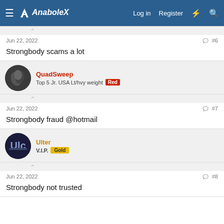AnaboleX  Log in  Register
Jun 22, 2022  #6
Strongbody scams a lot
QuadSweep
Top 5 Jr. USA Lt/hvy weight  Red
Jun 22, 2022  #7
Strongbody fraud @hotmail
Ulter
V.I.P.  Gold
Jun 22, 2022  #8
Strongbody not trusted